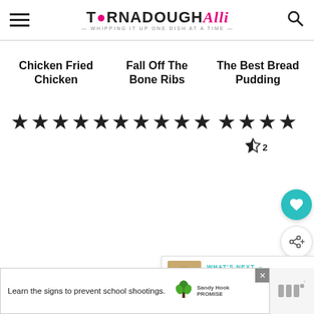TORNADOUGH Alli - Whipping it up one dish at a time
Chicken Fried Chicken
[Figure (other): 5-star rating for Chicken Fried Chicken]
Fall Off The Bone Ribs
[Figure (other): 5-star rating for Fall Off The Bone Ribs]
The Best Bread Pudding
[Figure (other): 4.5-star rating (2 reviews) for The Best Bread Pudding]
[Figure (other): Heart/like button and share button floating icons]
WHAT'S NEXT → Sweet Potato Casserole...
Learn the signs to prevent school shootings. Sandy Hook Promise